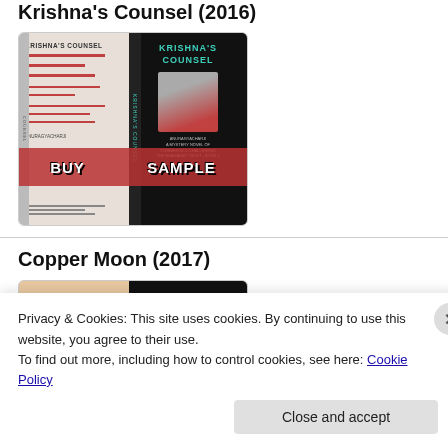Krishna's Counsel (2016)
[Figure (photo): Book cover image for Krishna's Counsel showing front and back cover with BUY and SAMPLE buttons overlaid in a red banner]
Copper Moon (2017)
[Figure (photo): Partial book cover image for Copper Moon (partly obscured by cookie banner)]
Privacy & Cookies: This site uses cookies. By continuing to use this website, you agree to their use.
To find out more, including how to control cookies, see here: Cookie Policy
Close and accept